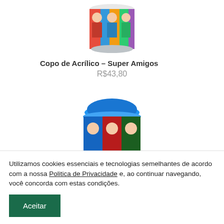[Figure (photo): Colorful acrylic cup with superhero characters printed on it, viewed from above/side, partially cropped at top]
Copo de Acrílico – Super Amigos
R$43,80
[Figure (photo): Travel cup with blue lid and superhero character print, partially cropped at bottom]
Utilizamos cookies essenciais e tecnologias semelhantes de acordo com a nossa Politica de Privacidade e, ao continuar navegando, você concorda com estas condições.
Aceitar